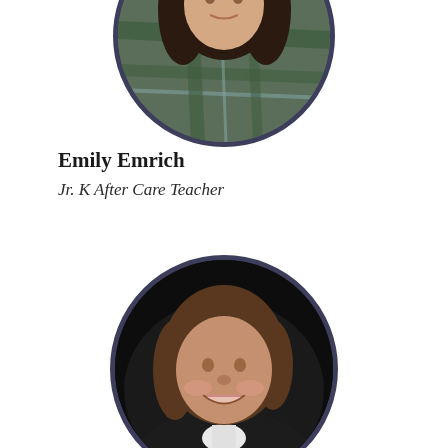[Figure (photo): Circular portrait photo of Emily Emrich, a young woman with dark curly hair wearing a green plaid top, partially cropped at top of page]
Emily Emrich
Jr. K After Care Teacher
[Figure (photo): Circular portrait photo of an older woman with short brown hair, smiling, wearing dark clothing with a white collar, against a dark background]